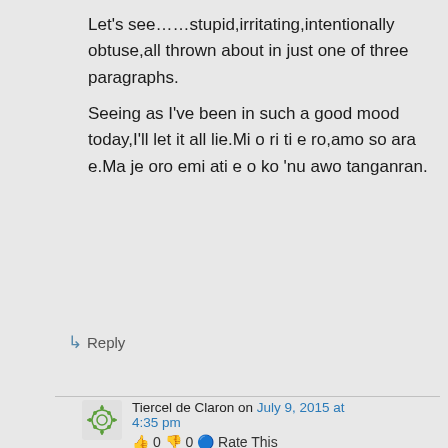Let's see……stupid,irritating,intentionally obtuse,all thrown about in just one of three paragraphs.
Seeing as I've been in such a good mood today,I'll let it all lie.Mi o ri ti e ro,amo so ara e.Ma je oro emi ati e o ko 'nu awo tanganran.
↳ Reply
Tiercel de Claron on July 9, 2015 at 4:35 pm
👍 0 👎 0 ℹ Rate This
Kila gbe,kilo n ju gan?.